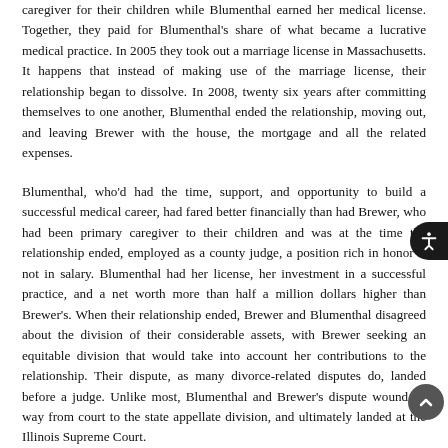caregiver for their children while Blumenthal earned her medical license. Together, they paid for Blumenthal's share of what became a lucrative medical practice. In 2005 they took out a marriage license in Massachusetts. It happens that instead of making use of the marriage license, their relationship began to dissolve. In 2008, twenty six years after committing themselves to one another, Blumenthal ended the relationship, moving out, and leaving Brewer with the house, the mortgage and all the related expenses.
Blumenthal, who'd had the time, support, and opportunity to build a successful medical career, had fared better financially than had Brewer, who had been primary caregiver to their children and was at the time the relationship ended, employed as a county judge, a position rich in honor if not in salary. Blumenthal had her license, her investment in a successful practice, and a net worth more than half a million dollars higher than Brewer's. When their relationship ended, Brewer and Blumenthal disagreed about the division of their considerable assets, with Brewer seeking an equitable division that would take into account her contributions to the relationship. Their dispute, as many divorce-related disputes do, landed before a judge. Unlike most, Blumenthal and Brewer's dispute wound its way from court to the state appellate division, and ultimately landed at the Illinois Supreme Court.